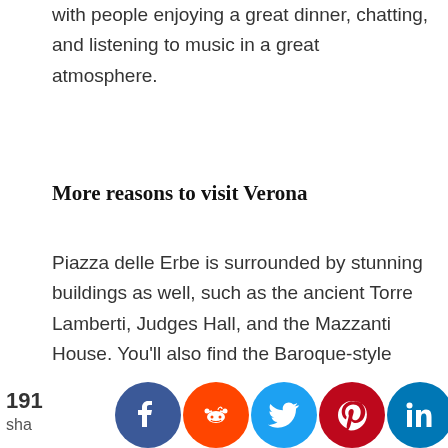with people enjoying a great dinner, chatting, and listening to music in a great atmosphere.
More reasons to visit Verona
Piazza delle Erbe is surrounded by stunning buildings as well, such as the ancient Torre Lamberti, Judges Hall, and the Mazzanti House. You'll also find the Baroque-style Maffei Palace and the
191 shares